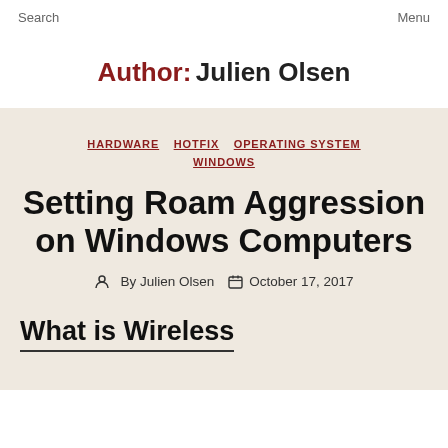Search    Menu
Author: Julien Olsen
HARDWARE  HOTFIX  OPERATING SYSTEM  WINDOWS
Setting Roam Aggression on Windows Computers
By Julien Olsen    October 17, 2017
What is Wireless